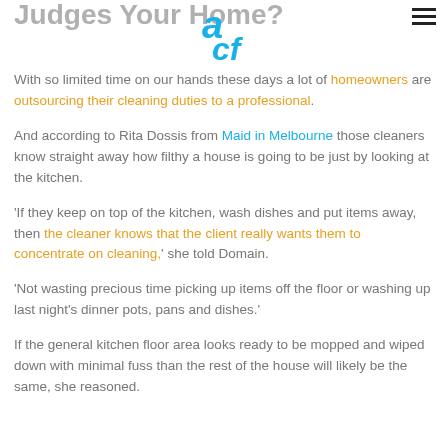Judges Your Home?
[Figure (logo): ACF logo with stylized 'a' and 'cf' letters in blue]
With so limited time on our hands these days a lot of homeowners are outsourcing their cleaning duties to a professional.
And according to Rita Dossis from Maid in Melbourne those cleaners know straight away how filthy a house is going to be just by looking at the kitchen.
'If they keep on top of the kitchen, wash dishes and put items away, then the cleaner knows that the client really wants them to concentrate on cleaning,' she told Domain.
'Not wasting precious time picking up items off the floor or washing up last night's dinner pots, pans and dishes.'
If the general kitchen floor area looks ready to be mopped and wiped down with minimal fuss than the rest of the house will likely be the same, she reasoned.